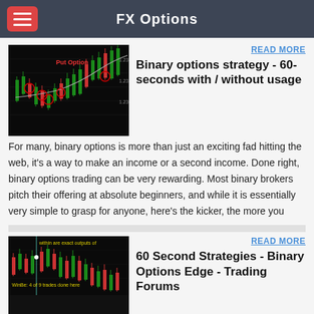FX Options
[Figure (screenshot): Candlestick chart with 'Put Option' label and red circle markers indicating trading signals]
READ MORE
Binary options strategy - 60-seconds with / without usage
For many, binary options is more than just an exciting fad hitting the web, it's a way to make an income or a second income. Done right, binary options trading can be very rewarding. Most binary brokers pitch their offering at absolute beginners, and while it is essentially very simple to grasp for anyone, here's the kicker, the more you
[Figure (screenshot): Candlestick chart with yellow text annotations about trading signals]
READ MORE
60 Second Strategies - Binary Options Edge - Trading Forums